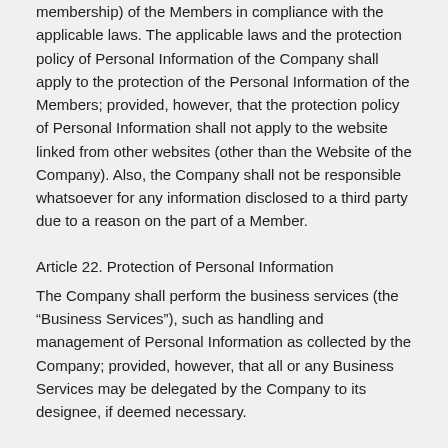membership) of the Members in compliance with the applicable laws. The applicable laws and the protection policy of Personal Information of the Company shall apply to the protection of the Personal Information of the Members; provided, however, that the protection policy of Personal Information shall not apply to the website linked from other websites (other than the Website of the Company). Also, the Company shall not be responsible whatsoever for any information disclosed to a third party due to a reason on the part of a Member.
Article 22. Protection of Personal Information
The Company shall perform the business services (the “Business Services”), such as handling and management of Personal Information as collected by the Company; provided, however, that all or any Business Services may be delegated by the Company to its designee, if deemed necessary.
CHAPTER 5. MISCELLANEOUS
Article 23. Termination and Restrictive Use